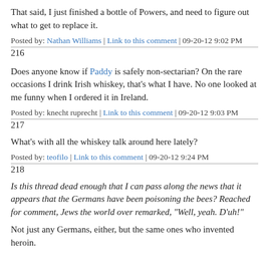That said, I just finished a bottle of Powers, and need to figure out what to get to replace it.
Posted by: Nathan Williams | Link to this comment | 09-20-12 9:02 PM
216
Does anyone know if Paddy is safely non-sectarian? On the rare occasions I drink Irish whiskey, that's what I have. No one looked at me funny when I ordered it in Ireland.
Posted by: knecht ruprecht | Link to this comment | 09-20-12 9:03 PM
217
What's with all the whiskey talk around here lately?
Posted by: teofilo | Link to this comment | 09-20-12 9:24 PM
218
Is this thread dead enough that I can pass along the news that it appears that the Germans have been poisoning the bees? Reached for comment, Jews the world over remarked, "Well, yeah. D'uh!"
Not just any Germans, either, but the same ones who invented heroin.